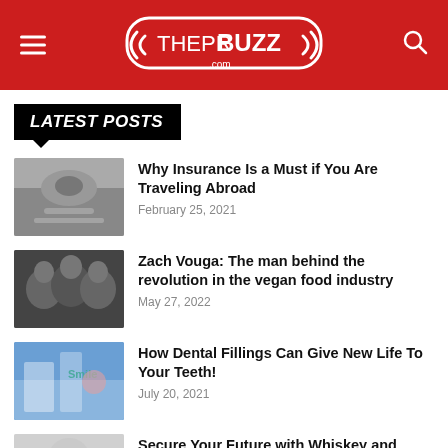THEPRBUZZ.com
LATEST POSTS
Why Insurance Is a Must if You Are Traveling Abroad
February 25, 2021
Zach Vouga: The man behind the revolution in the vegan food industry
May 27, 2022
How Dental Fillings Can Give New Life To Your Teeth!
July 20, 2021
Secure Your Future with Whiskey and Wealth Club